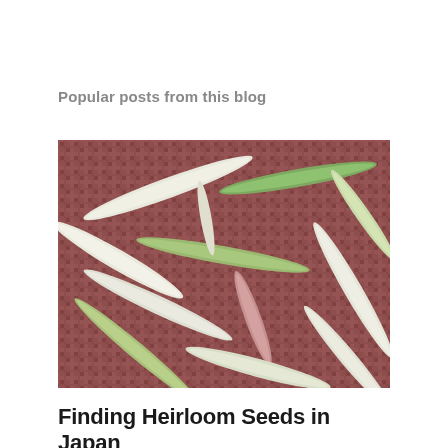Popular posts from this blog
[Figure (photo): Close-up photograph of multiple heirloom bean pods (green, white, and pinkish) scattered on a woven reddish-brown mat background.]
Finding Heirloom Seeds in Japan